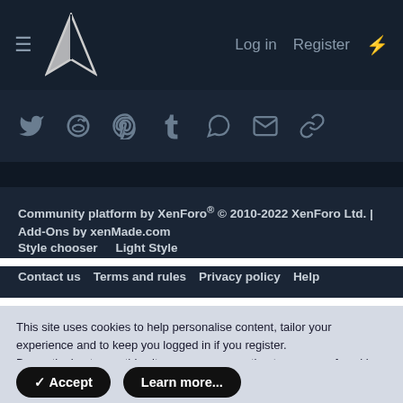Log in  Register
[Figure (logo): Arch Linux arrow logo in white on dark navy background]
[Figure (infographic): Social share icons: Twitter, Reddit, Pinterest, Tumblr, WhatsApp, Email, Link]
Community platform by XenForo® © 2010-2022 XenForo Ltd. | Add-Ons by xenMade.com
Style chooser   Light Style
Contact us   Terms and rules   Privacy policy   Help
This site uses cookies to help personalise content, tailor your experience and to keep you logged in if you register.
By continuing to use this site, you are consenting to our use of cookies.
✓ Accept   Learn more...